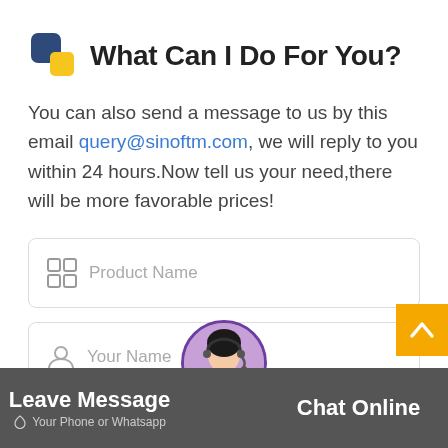What Can I Do For You?
You can also send a message to us by this email query@sinoftm.com, we will reply to you within 24 hours.Now tell us your need,there will be more favorable prices!
Product Name (form field)
Your Name (form field)
Your Email(*) (form field)
Leave Message
Your Phone or Whatsapp
Chat Online